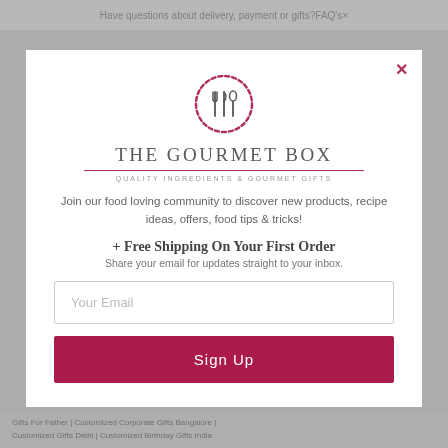Have questions about delivery, payment or gifts? FAQ's ×
[Figure (logo): The Gourmet Box logo: circular icon with fork, knife, and spoon silhouette inside a dotted/dashed red circle border]
The Gourmet Box
QUALITY INGREDIENTS & GOURMET GIFTS
Join our food loving community to discover new products, recipe ideas, offers, food tips & tricks!
+ Free Shipping On Your First Order
Share your email for updates straight to your inbox.
Your Email
Sign Up
Gifts For Father | Customized Corporate Gifts Bangalore | Customized Gifts Delhi | Customized Birthday Gifts India